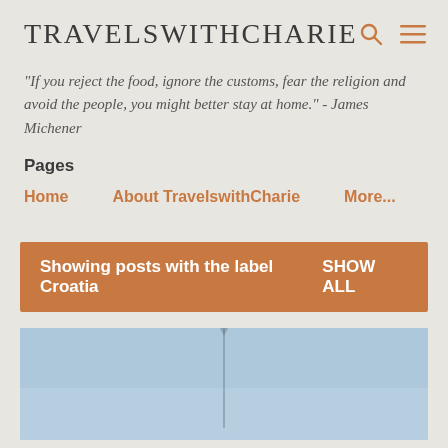TRAVELSWITHCHARIE
“If you reject the food, ignore the customs, fear the religion and avoid the people, you might better stay at home.” - James Michener
Pages
Home
About TravelswithCharie
More...
Showing posts with the label Croatia   SHOW ALL
[Figure (photo): Blue sky photo, possibly a mast or tower visible]